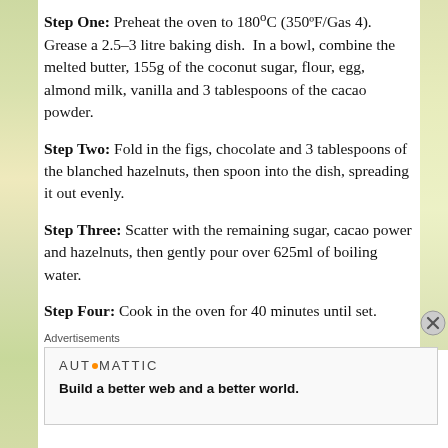Step One: Preheat the oven to 180°C (350ºF/Gas 4). Grease a 2.5-3 litre baking dish.  In a bowl, combine the melted butter, 155g of the coconut sugar, flour, egg, almond milk, vanilla and 3 tablespoons of the cacao powder.
Step Two: Fold in the figs, chocolate and 3 tablespoons of the blanched hazelnuts, then spoon into the dish, spreading it out evenly.
Step Three: Scatter with the remaining sugar, cacao power and hazelnuts, then gently pour over 625ml of boiling water.
Step Four: Cook in the oven for 40 minutes until set.
Advertisements
AUTOMATTIC — Build a better web and a better world.